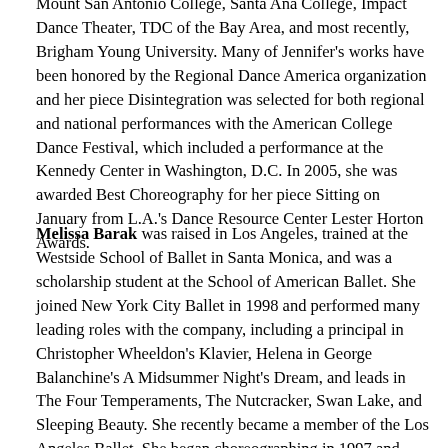Mount San Antonio College, Santa Ana College, Impact Dance Theater, TDC of the Bay Area, and most recently, Brigham Young University. Many of Jennifer's works have been honored by the Regional Dance America organization and her piece Disintegration was selected for both regional and national performances with the American College Dance Festival, which included a performance at the Kennedy Center in Washington, D.C. In 2005, she was awarded Best Choreography for her piece Sitting on January from L.A.'s Dance Resource Center Lester Horton Awards.
Melissa Barak was raised in Los Angeles, trained at the Westside School of Ballet in Santa Monica, and was a scholarship student at the School of American Ballet. She joined New York City Ballet in 1998 and performed many leading roles with the company, including a principal in Christopher Wheeldon's Klavier, Helena in George Balanchine's A Midsummer Night's Dream, and leads in The Four Temperaments, The Nutcracker, Swan Lake, and Sleeping Beauty. She recently became a member of the Los Angeles Ballet. She began choreographing in 1997 and created a piece for the School of American Ballet Student Choreographic Workshop. She participated in the New York Choreographic Institute in 2000, 2003, and 2006, and has choreographed works for New York City Ballet and Choreographers on Pointe. In 2001 she received the Mae L. Wien